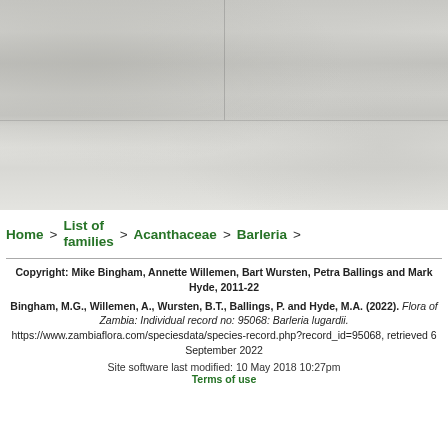[Figure (photo): Grayscale/muted photograph of Barleria lugardii plant, split into upper and lower sections with a faint vertical divider on the upper half]
Home > List of families > Acanthaceae > Barleria >
Copyright: Mike Bingham, Annette Willemen, Bart Wursten, Petra Ballings and Mark Hyde, 2011-22
Bingham, M.G., Willemen, A., Wursten, B.T., Ballings, P. and Hyde, M.A. (2022). Flora of Zambia: Individual record no: 95068: Barleria lugardii. https://www.zambiaflora.com/speciesdata/species-record.php?record_id=95068, retrieved 6 September 2022
Site software last modified: 10 May 2018 10:27pm
Terms of use